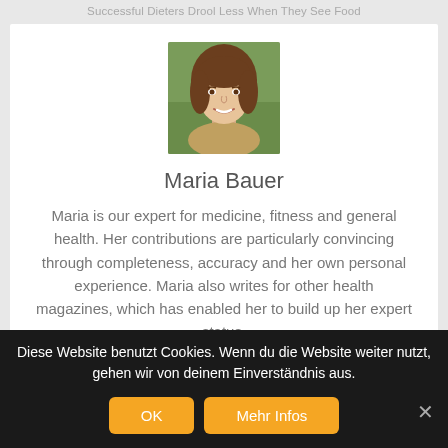Successful Dieters Drool Less When They See Food
[Figure (photo): Portrait photo of Maria Bauer, a young woman with long brown hair, smiling, in front of a green outdoor background]
Maria Bauer
Maria is our expert for medicine, fitness and general health. Her contributions are particularly convincing through completeness, accuracy and her own personal experience. Maria also writes for other health magazines, which has enabled her to build up her expert status.
Diese Website benutzt Cookies. Wenn du die Website weiter nutzt, gehen wir von deinem Einverständnis aus.
OK  Mehr Infos